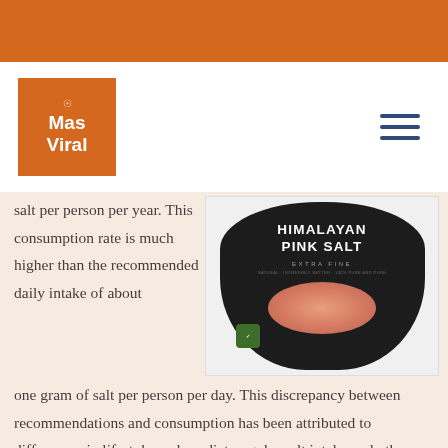[Figure (logo): Mas Viral logo — orange square with white text and small circle symbol]
salt per person per year. This consumption rate is much higher than the recommended daily intake of about one gram of salt per person per day. This discrepancy between recommendations and consumption has been attributed to differences in lifestyle such as diet, regular salt intake and other factors such as gender and race. Because of these factors, scientists developed a table comparing the effects of salt on various diseases. The results showed that hypertension, high blood pressure,
[Figure (photo): Himalayan Pink Salt product bag — black rounded bag with white text reading HIMALAYAN PINK SALT EXTRA FINE, showing a pink oval of salt and a green certification badge]